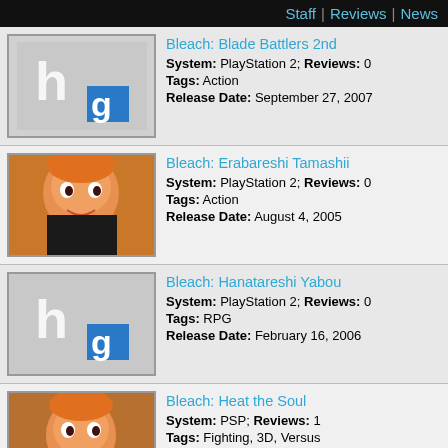Staff | Reviews | News
Bleach: Blade Battlers 2nd
System: PlayStation 2; Reviews: 0
Tags: Action
Release Date: September 27, 2007
Bleach: Erabareshi Tamashii
System: PlayStation 2; Reviews: 0
Tags: Action
Release Date: August 4, 2005
Bleach: Hanatareshi Yabou
System: PlayStation 2; Reviews: 0
Tags: RPG
Release Date: February 16, 2006
Bleach: Heat the Soul
System: PSP; Reviews: 1
Tags: Fighting, 3D, Versus
Release Date: March 24, 2005
Bleach: Heat the Soul 2
System: PSP; Reviews: 1
Tags: Fighting, 3D, Versus
Release Date: September 1, 2005
Bleach: Heat the Soul 3
System: PSP; Reviews: 0
Tags: Fighting, 3D, Versus